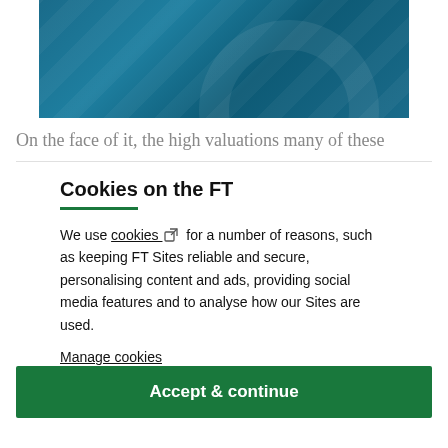[Figure (photo): FT article hero image with teal/blue gradient background]
On the face of it, the high valuations many of these
Cookies on the FT
We use cookies ⧉ for a number of reasons, such as keeping FT Sites reliable and secure, personalising content and ads, providing social media features and to analyse how our Sites are used.
Manage cookies
Accept & continue